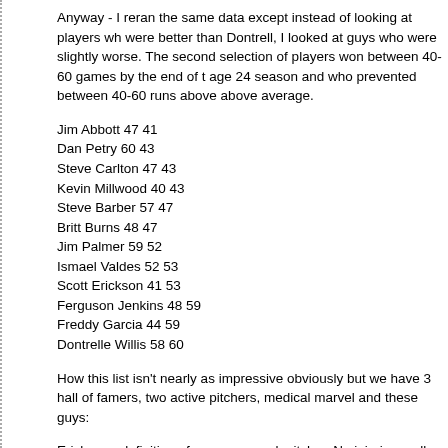Anyway - I reran the same data except instead of looking at players who were better than Dontrell, I looked at guys who were slightly worse. The second selection of players won between 40-60 games by the end of the age 24 season and who prevented between 40-60 runs above above average.
Jim Abbott 47 41
Dan Petry 60 43
Steve Carlton 47 43
Kevin Millwood 40 43
Steve Barber 57 47
Britt Burns 48 47
Jim Palmer 59 52
Ismael Valdes 52 53
Scott Erickson 41 53
Ferguson Jenkins 48 59
Freddy Garcia 44 59
Dontrelle Willis 58 60
How this list isn't nearly as impressive obviously but we have 3 hall of famers, two active pitchers, medical marvel and these guys:
Erickson - definition of an young peak pitcher. No injuries really, but q